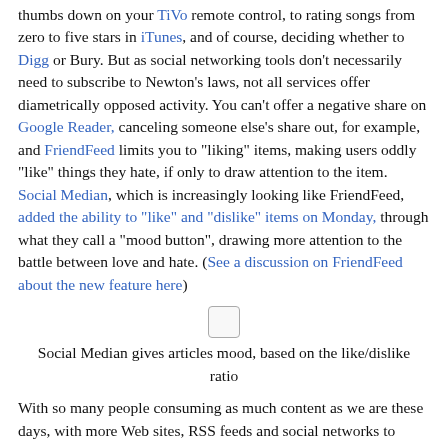thumbs down on your TiVo remote control, to rating songs from zero to five stars in iTunes, and of course, deciding whether to Digg or Bury. But as social networking tools don't necessarily need to subscribe to Newton's laws, not all services offer diametrically opposed activity. You can't offer a negative share on Google Reader, canceling someone else's share out, for example, and FriendFeed limits you to "liking" items, making users oddly "like" things they hate, if only to draw attention to the item. Social Median, which is increasingly looking like FriendFeed, added the ability to "like" and "dislike" items on Monday, through what they call a "mood button", drawing more attention to the battle between love and hate. (See a discussion on FriendFeed about the new feature here)
[Figure (other): Small image placeholder icon]
Social Median gives articles mood, based on the like/dislike ratio
With so many people consuming as much content as we are these days, with more Web sites, RSS feeds and social networks to imbibe, services are making it ever easier to